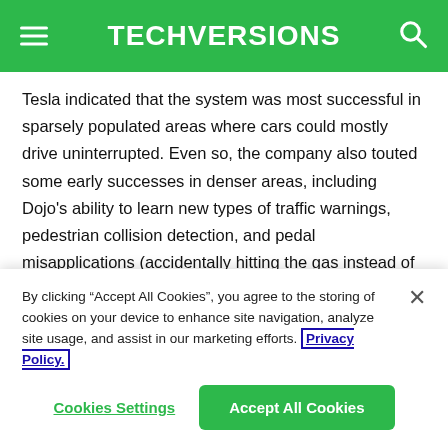TECHVERSIONS
Tesla indicated that the system was most successful in sparsely populated areas where cars could mostly drive uninterrupted. Even so, the company also touted some early successes in denser areas, including Dojo's ability to learn new types of traffic warnings, pedestrian collision detection, and pedal misapplications (accidentally hitting the gas instead of the brakes).
By clicking “Accept All Cookies”, you agree to the storing of cookies on your device to enhance site navigation, analyze site usage, and assist in our marketing efforts. Privacy Policy.